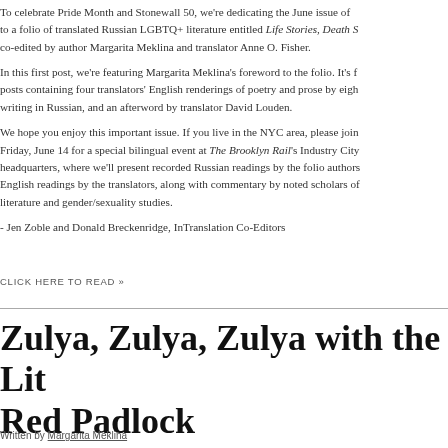To celebrate Pride Month and Stonewall 50, we're dedicating the June issue of to a folio of translated Russian LGBTQ+ literature entitled Life Stories, Death S co-edited by author Margarita Meklina and translator Anne O. Fisher.
In this first post, we're featuring Margarita Meklina's foreword to the folio. It's f posts containing four translators' English renderings of poetry and prose by eigh writing in Russian, and an afterword by translator David Louden.
We hope you enjoy this important issue. If you live in the NYC area, please join Friday, June 14 for a special bilingual event at The Brooklyn Rail's Industry City headquarters, where we'll present recorded Russian readings by the folio authors English readings by the translators, along with commentary by noted scholars of literature and gender/sexuality studies.
- Jen Zoble and Donald Breckenridge, InTranslation Co-Editors
CLICK HERE TO READ »
Zulya, Zulya, Zulya with the Little Red Padlock
Written by Margarita Meklina